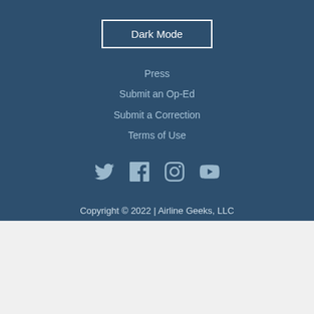Dark Mode
Press
Submit an Op-Ed
Submit a Correction
Terms of Use
[Figure (other): Social media icons: Twitter, Facebook, Instagram, YouTube]
Copyright © 2022 | Airline Geeks, LLC